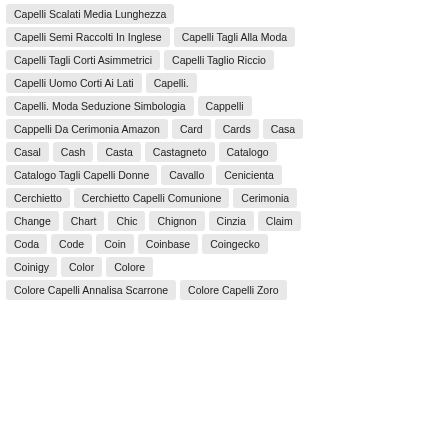Capelli Scalati Media Lunghezza
Capelli Semi Raccolti In Inglese
Capelli Tagli Alla Moda
Capelli Tagli Corti Asimmetrici
Capelli Taglio Riccio
Capelli Uomo Corti Ai Lati
Capelli.
Capelli. Moda Seduzione Simbologia
Cappelli
Cappelli Da Cerimonia Amazon
Card
Cards
Casa
Casal
Cash
Casta
Castagneto
Catalogo
Catalogo Tagli Capelli Donne
Cavallo
Cenicienta
Cerchietto
Cerchietto Capelli Comunione
Cerimonia
Change
Chart
Chic
Chignon
Cinzia
Claim
Coda
Code
Coin
Coinbase
Coingecko
Coinigy
Color
Colore
Colore Capelli Annalisa Scarrone
Colore Capelli Zoro